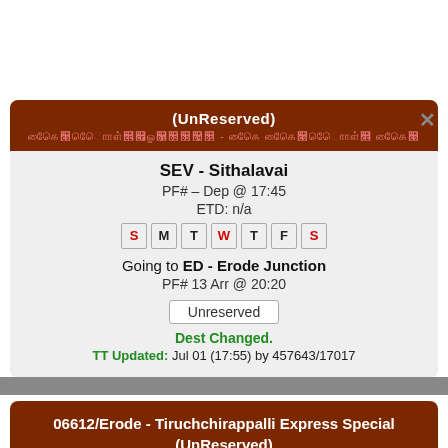(UnReserved)
[Tamil script]
SEV - Sithalavai
PF# – Dep @ 17:45
ETD: n/a
S M T W T F S
Going to ED - Erode Junction
PF# 13 Arr @ 20:20
Unreserved
Dest Changed.
TT Updated: Jul 01 (17:55) by 457643/17017
06612/Erode - Tiruchchirappalli Express Special (UnReserved)
[Tamil script]